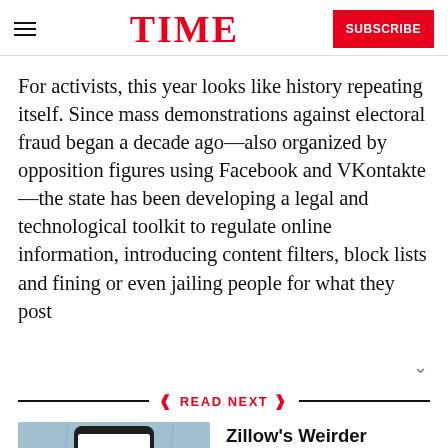TIME | SUBSCRIBE
For activists, this year looks like history repeating itself. Since mass demonstrations against electoral fraud began a decade ago—also organized by opposition figures using Facebook and VKontakte—the state has been developing a legal and technological toolkit to regulate online information, introducing content filters, block lists and fining or even jailing people for what they post
READ NEXT
[Figure (photo): Photo of a hand holding a smartphone displaying the Zillow app logo on a blue background]
Zillow's Weirder Homes Can Be a Cabin Fever Cure